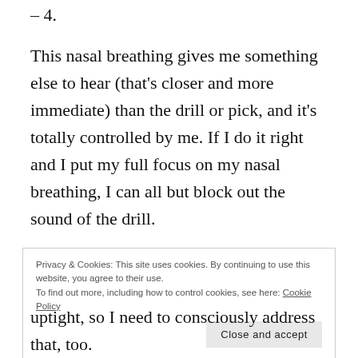– 4.
This nasal breathing gives me something else to hear (that's closer and more immediate) than the drill or pick, and it's totally controlled by me. If I do it right and I put my full focus on my nasal breathing, I can all but block out the sound of the drill.
Conscious Relaxation
While I'm focusing my attention on my breathing and
Privacy & Cookies: This site uses cookies. By continuing to use this website, you agree to their use.
To find out more, including how to control cookies, see here: Cookie Policy
uptight, so I need to consciously address that, too.